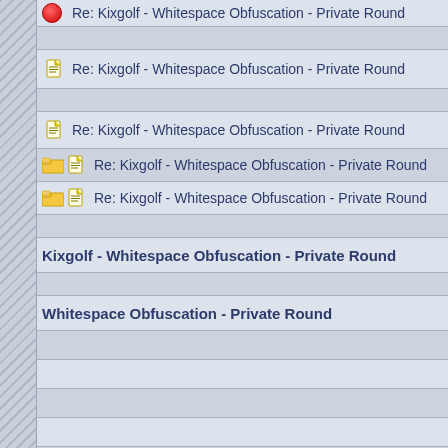Re: Kixgolf - Whitespace Obfuscation - Private Round
Re: Kixgolf - Whitespace Obfuscation - Private Round
Re: Kixgolf - Whitespace Obfuscation - Private Round
Re: Kixgolf - Whitespace Obfuscation - Private Round
Re: Kixgolf - Whitespace Obfuscation - Private Round
Kixgolf - Whitespace Obfuscation - Private Round
Whitespace Obfuscation - Private Round
R
Re: Kixg